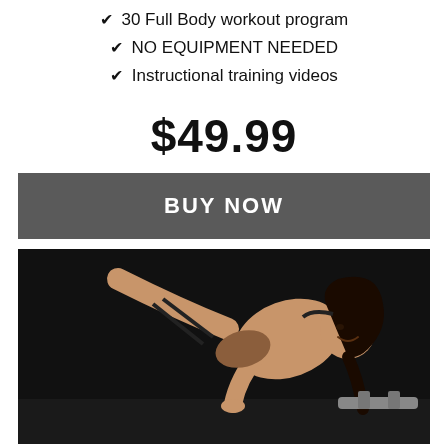✔ 30 Full Body workout program
✔ NO EQUIPMENT NEEDED
✔ Instructional training videos
$49.99
BUY NOW
[Figure (photo): Fitness woman in beige athletic wear performing a side plank or similar exercise pose on a dark background, smiling at camera, showing muscular physique.]